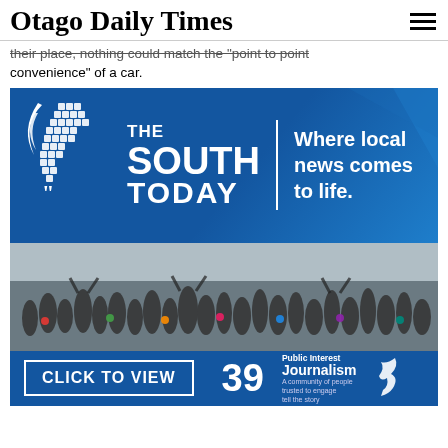Otago Daily Times
their place, nothing could match the "point to point convenience" of a car.
[Figure (advertisement): Advertisement for 'The South Today' TV show on channel 39. Blue background with NZ map icon, brand name, tagline 'Where local news comes to life.', crowd photo, 'CLICK TO VIEW' button, channel 39 logo, and Public Interest Journalism badge.]